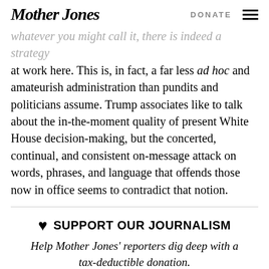Mother Jones | DONATE
whatever you might call it, there is indeed a strategy at work here. This is, in fact, a far less ad hoc and amateurish administration than pundits and politicians assume. Trump associates like to talk about the in-the-moment quality of present White House decision-making, but the concerted, continual, and consistent on-message attack on words, phrases, and language that offends those now in office seems to contradict that notion.
SUPPORT OUR JOURNALISM
Help Mother Jones' reporters dig deep with a tax-deductible donation.